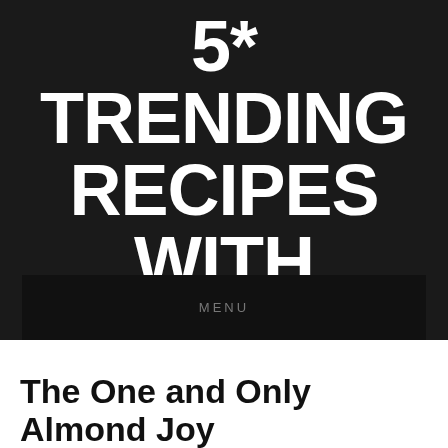5* TRENDING RECIPES WITH VIDEOS
THEFFEED FOOD – EXPLORE HUNDREDS TRENDING RECIPES WITH VIDEOS
MENU
The One and Only Almond Joy